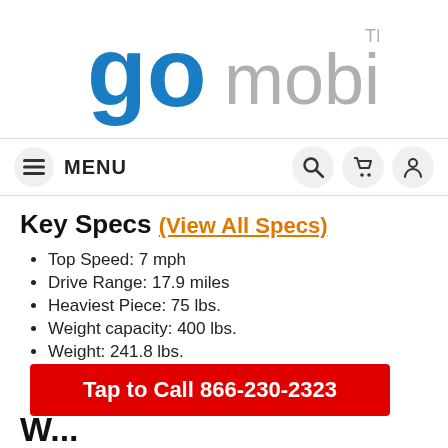[Figure (logo): Go Mobility logo: 'go' in blue bold letters, 'mobility' in gray with TM superscript]
≡ MENU 🔍 🛒 👤
Key Specs (View All Specs)
Top Speed: 7 mph
Drive Range: 17.9 miles
Heaviest Piece: 75 lbs.
Weight capacity: 400 lbs.
Weight: 241.8 lbs.
Owner's Manual
Tap to Call 866-230-2323